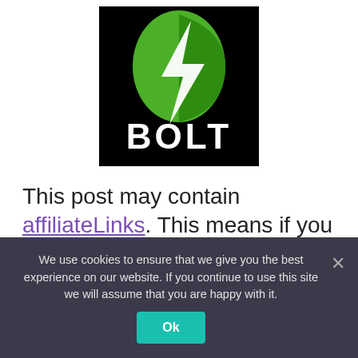[Figure (logo): Bolt logo: black square background with a white lightning bolt on a green leaf/teardrop shape, with the word BOLT in large white bold text below the bolt icon.]
This post may contain affiliateLinks. This means if you click through and make a purchase I will receive a commission. The price you pay will not be affected.
We use cookies to ensure that we give you the best experience on our website. If you continue to use this site we will assume that you are happy with it.